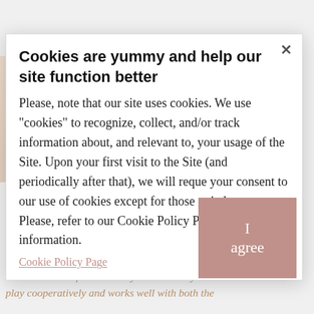[Figure (photo): Faded background image of colorful toy cars and play food items, partially visible behind the cookie consent modal]
Cookies are yummy and help our site function better
Please, note that our site uses cookies. We use "cookies" to recognize, collect, and/or track information about, and relevant to, your usage of the Site. Upon your first visit to the Site (and periodically after that), we will reque your consent to our use of cookies except for those strictly necessary. Please, refer to our Cookie Policy Page for more information.
Cookie Policy Page
I agree